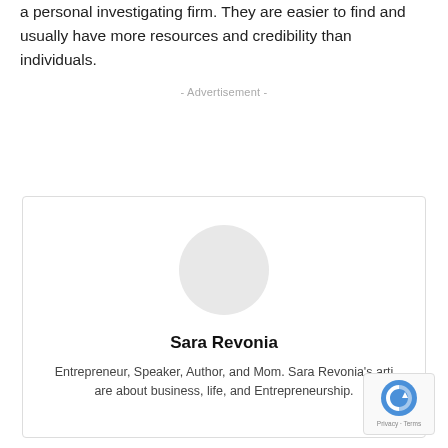a personal investigating firm. They are easier to find and usually have more resources and credibility than individuals.
- Advertisement -
[Figure (other): Author bio box with circular avatar placeholder, author name 'Sara Revonia', and bio text.]
Sara Revonia
Entrepreneur, Speaker, Author, and Mom. Sara Revonia's articles are about business, life, and Entrepreneurship.